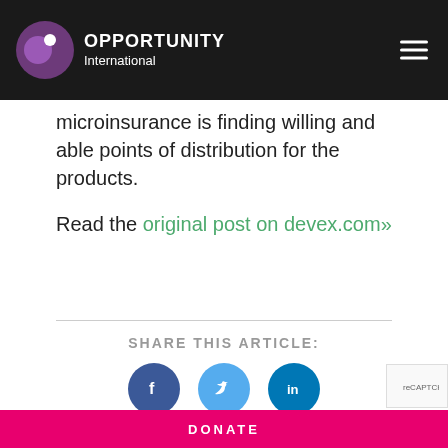OPPORTUNITY International
microinsurance is finding willing and able points of distribution for the products.
Read the original post on devex.com»
SHARE THIS ARTICLE:
[Figure (other): Social share icons: Facebook, Twitter, LinkedIn]
< PREVIOUS ARTICLE
DONATE